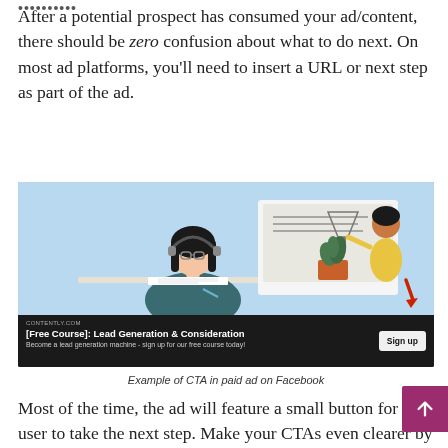••••••••••••
After a potential prospect has consumed your ad/content, there should be zero confusion about what to do next. On most ad platforms, you'll need to insert a URL or next step as part of the ad.
[Figure (screenshot): Screenshot of a Facebook paid ad for Contently.com featuring an animated illustration of a woman with headphones watching an online class with a teacher. The ad footer shows the source CONTENTLY.COM, title '[Free Course]: Lead Generation & Consideration', description 'Become a lead generation machine - sign up for our free course today!' and a 'Sign up' button. A red arrow points to the Sign up button.]
Example of CTA in paid ad on Facebook
Most of the time, the ad will feature a small button for the user to take the next step. Make your CTAs even clearer by writing them out in your copy (if applicab and even link the URL to the next step in the copy if you